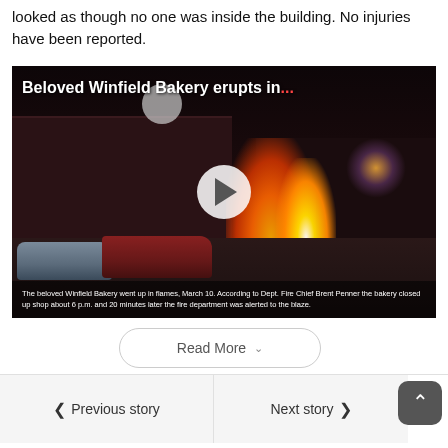looked as though no one was inside the building. No injuries have been reported.
[Figure (photo): Night video thumbnail of the beloved Winfield Bakery on fire. Title overlay reads 'Beloved Winfield Bakery erupts in...' with a play button in the center. Cars visible in foreground, flames visible on right side of building.]
The beloved Winfield Bakery went up in flames, March 10. According to Dept. Fire Chief Brent Penner the bakery closed up shop about 6 p.m. and 20 minutes later the fire department was alerted to the blaze.
Read More
Previous story
Next story